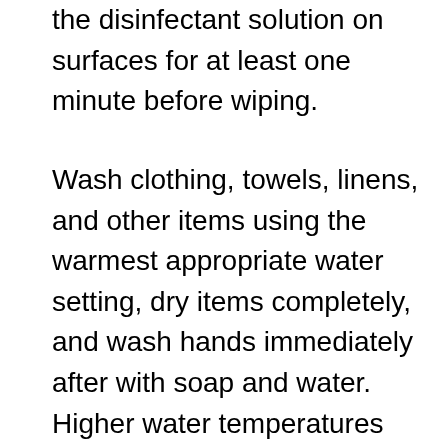the disinfectant solution on surfaces for at least one minute before wiping.
Wash clothing, towels, linens, and other items using the warmest appropriate water setting, dry items completely, and wash hands immediately after with soap and water. Higher water temperatures work better to effectively remove germs and clean heavily soiled garments.
Emphasize frequent hand hygiene and